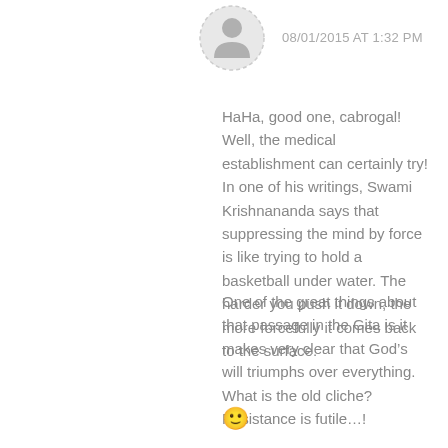08/01/2015 AT 1:32 PM
HaHa, good one, cabrogal! Well, the medical establishment can certainly try! In one of his writings, Swami Krishnananda says that suppressing the mind by force is like trying to hold a basketball under water. The harder you push it down, the more forcefully it comes back to the surface.
One of the great things about that passage in the Gita is it makes very clear that God’s will triumphs over everything. What is the old cliche? Resistance is futile…!
🙂